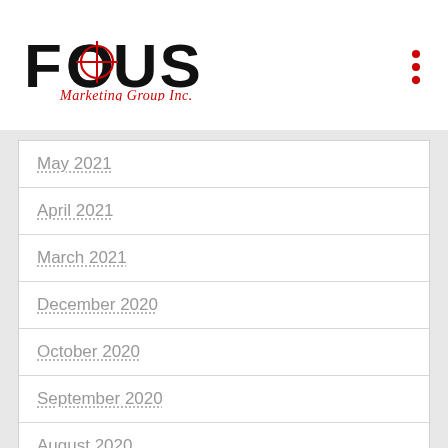[Figure (logo): FOCUS Marketing Group Inc. logo with crosshair on the O]
May 2021
April 2021
March 2021
December 2020
October 2020
September 2020
August 2020
July 2020
June 2020